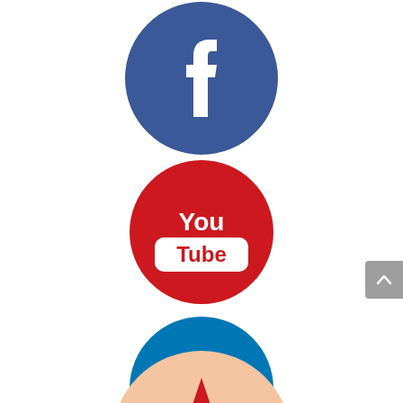[Figure (logo): Facebook logo — dark blue circle with white lowercase f icon]
[Figure (logo): YouTube logo — red circle with white 'You Tube' text and rounded rectangle badge]
[Figure (logo): LinkedIn logo — blue circle with white 'in' text]
[Figure (logo): Partially visible circular logo with peach/beige background and red star-like shape — bottom of page]